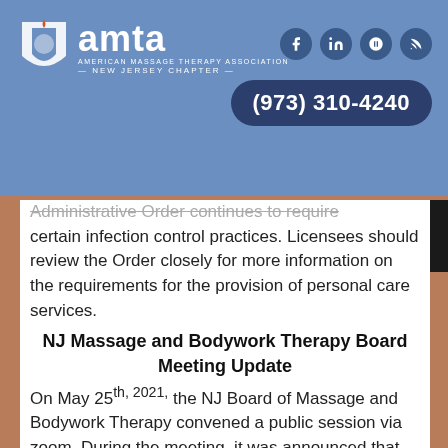[Figure (logo): AMTA New Jersey Chapter logo with shield and text]
(973) 310-4240
Administrative Order continues to require certain infection control practices. Licensees should review the Order closely for more information on the requirements for the provision of personal care services.
NJ Massage and Bodywork Therapy Board Meeting Update
On May 25th, 2021, the NJ Board of Massage and Bodywork Therapy convened a public session via zoom. During the meeting, it was announced that NJ Licensed Massage employers are now required to display human trafficking awareness posters in the bathrooms and changing rooms of their